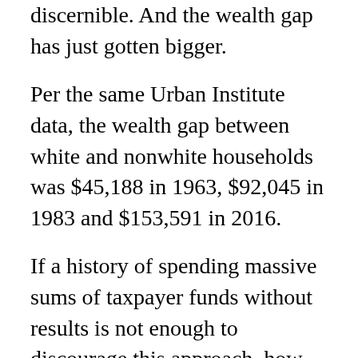discernible. And the wealth gap has just gotten bigger.
Per the same Urban Institute data, the wealth gap between white and nonwhite households was $45,188 in 1963, $92,045 in 1983 and $153,591 in 2016.
If a history of spending massive sums of taxpayer funds without results is not enough to discourage this approach, how about asking where the money will come from?
This fiscal year, the federal government will spend $4.5 trillion, $3.5 of which